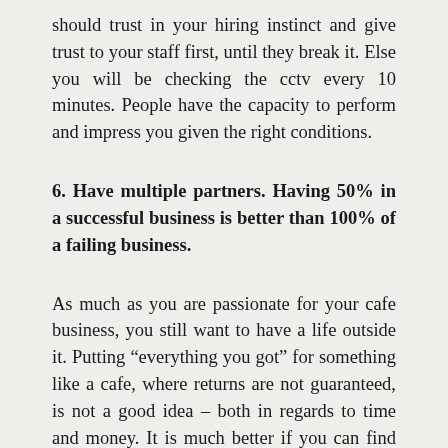should trust in your hiring instinct and give trust to your staff first, until they break it. Else you will be checking the cctv every 10 minutes. People have the capacity to perform and impress you given the right conditions.
6. Have multiple partners. Having 50% in a successful business is better than 100% of a failing business.
As much as you are passionate for your cafe business, you still want to have a life outside it. Putting “everything you got” for something like a cafe, where returns are not guaranteed, is not a good idea – both in regards to time and money. It is much better if you can find partners and friends to do this with you. If you have 5 partners, what this means is you spend 1/5th of the expenditure and if you negotiate right with your partners, you work 2 days a week and not 6 or 7 days a week full shift. It is better to